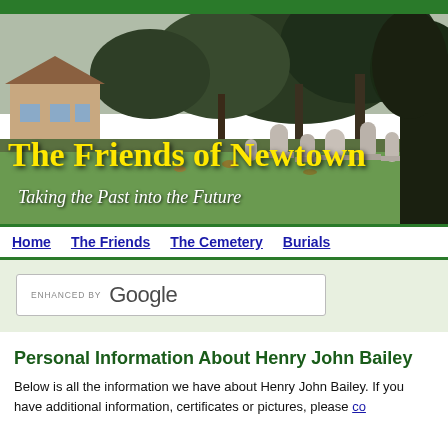[Figure (photo): Cemetery banner photo showing gravestones, green grass, and large trees with overcast sky, with houses in background. Overlaid with blackletter title 'The Friends of Newtown' in yellow and italic subtitle 'Taking the Past into the Future' in white.]
Home   The Friends   The Cemetery   Burials
[Figure (other): Google search box with 'ENHANCED BY Google' text]
Personal Information About Henry John Bailey
Below is all the information we have about Henry John Bailey. If you have additional information, certificates or pictures, please co…